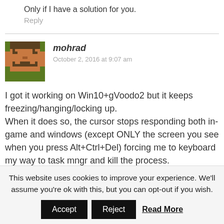Only if I have a solution for you.
Reply
[Figure (illustration): Pixel art avatar of a character with a brown/orange face and green hat/body]
mohrad
October 2, 2016 at 9:07 am
I got it working on Win10+gVoodo2 but it keeps freezing/hanging/locking up.
When it does so, the cursor stops responding both in-game and windows (except ONLY the screen you see when you press Alt+Ctrl+Del) forcing me to keyboard my way to task mngr and kill the process.
This website uses cookies to improve your experience. We'll assume you're ok with this, but you can opt-out if you wish.
Accept
Reject
Read More